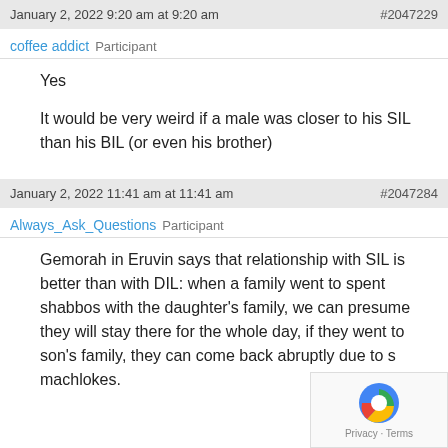January 2, 2022 9:20 am at 9:20 am   #2047229
coffee addict   Participant
Yes
It would be very weird if a male was closer to his SIL than his BIL (or even his brother)
January 2, 2022 11:41 am at 11:41 am   #2047284
Always_Ask_Questions   Participant
Gemorah in Eruvin says that relationship with SIL is better than with DIL: when a family went to spent shabbos with the daughter's family, we can presume they will stay there for the whole day, if they went to son's family, they can come back abruptly due to s machlokes.